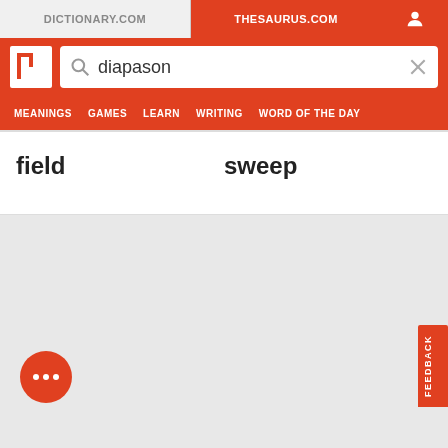DICTIONARY.COM | THESAURUS.COM
[Figure (screenshot): Thesaurus.com website header with logo, search bar containing 'diapason', and navigation menu with MEANINGS, GAMES, LEARN, WRITING, WORD OF THE DAY]
field
sweep
FEEDBACK